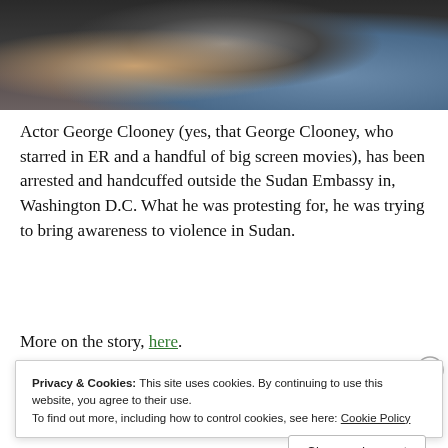[Figure (photo): Partial view of a man wearing a dark grey t-shirt, arms crossed, sitting down, with jeans visible on the right side. The image is cropped showing torso and arms only.]
Actor George Clooney (yes, that George Clooney, who starred in ER and a handful of big screen movies), has been arrested and handcuffed outside the Sudan Embassy in, Washington D.C. What he was protesting for, he was trying to bring awareness to violence in Sudan.
More on the story, here.
Privacy & Cookies: This site uses cookies. By continuing to use this website, you agree to their use.
To find out more, including how to control cookies, see here: Cookie Policy
Close and accept